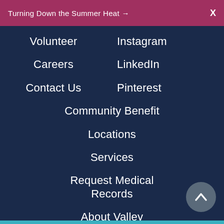Turning Down the Summer Heat →   X
Volunteer
Instagram
Careers
LinkedIn
Contact Us
Pinterest
Community Benefit
Locations
Services
Request Medical Records
About Valley Children's
Media Center